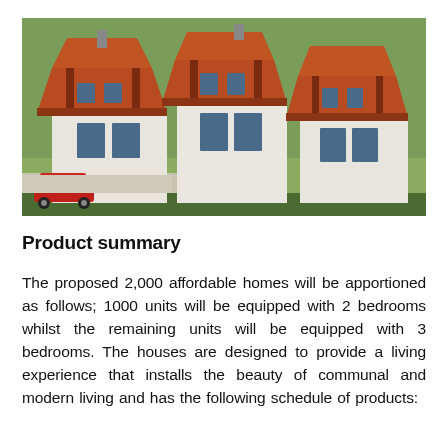[Figure (illustration): 3D rendering/illustration of a row of affordable residential houses with terracotta/red-brown roofs, white walls with brick-red columns, multiple stories, set on a green landscape with a red car parked in front.]
Product summary
The proposed 2,000 affordable homes will be apportioned as follows; 1000 units will be equipped with 2 bedrooms whilst the remaining units will be equipped with 3 bedrooms. The houses are designed to provide a living experience that installs the beauty of communal and modern living and has the following schedule of products: